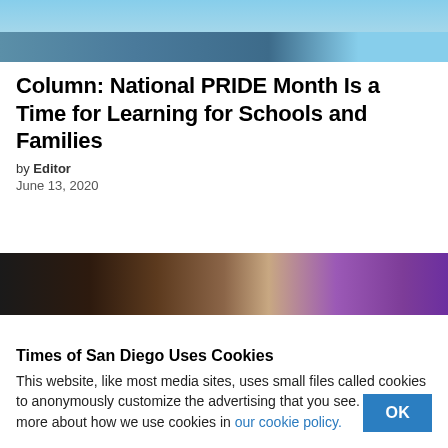[Figure (photo): Top partial photo showing building architecture with blue sky]
Column: National PRIDE Month Is a Time for Learning for Schools and Families
by Editor
June 13, 2020
[Figure (photo): Partial photo showing dark columns with purple/magenta lighting on right side]
Times of San Diego Uses Cookies
This website, like most media sites, uses small files called cookies to anonymously customize the advertising that you see. Learn more about how we use cookies in our cookie policy.